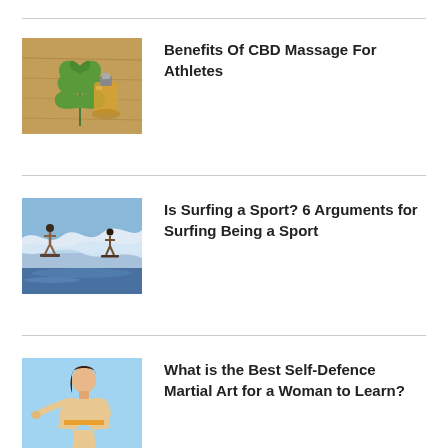[Figure (photo): Cannabis leaf next to a small glass bottle of CBD oil on a wooden surface]
Benefits Of CBD Massage For Athletes
[Figure (photo): Surfers riding large ocean waves]
Is Surfing a Sport? 6 Arguments for Surfing Being a Sport
[Figure (photo): Woman in martial arts pose on light blue background]
What is the Best Self-Defence Martial Art for a Woman to Learn?